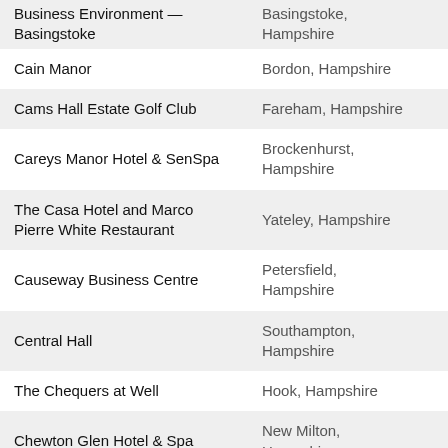| Venue | Location |
| --- | --- |
| Business Environment — Basingstoke | Basingstoke, Hampshire |
| Cain Manor | Bordon, Hampshire |
| Cams Hall Estate Golf Club | Fareham, Hampshire |
| Careys Manor Hotel & SenSpa | Brockenhurst, Hampshire |
| The Casa Hotel and Marco Pierre White Restaurant | Yateley, Hampshire |
| Causeway Business Centre | Petersfield, Hampshire |
| Central Hall | Southampton, Hampshire |
| The Chequers at Well | Hook, Hampshire |
| Chewton Glen Hotel & Spa | New Milton, Hampshire |
| Cineworld Southampton | Southampton, Hampshire |